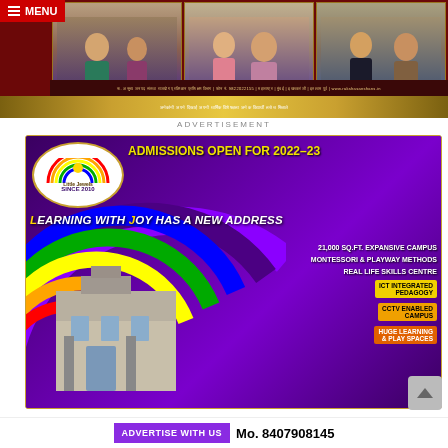[Figure (photo): Advertisement banner with photos of women in traditional Indian attire, gold decorative border, text in Marathi/Hindi script]
ADVERTISEMENT
[Figure (infographic): Little Jewels school advertisement. Admissions Open for 2022-23. Learning with Joy has a New Address. Features: 21,000 sq.ft. expansive campus, Montessori & Playway Methods, Real Life Skills Centre, ICT Integrated Pedagogy, CCTV Enabled Campus, Huge Learning & Play Spaces. Logo with rainbow and 'Since 2010'. Building illustration with rainbow arc background.]
ADVERTISE WITH US  Mo. 8407908145